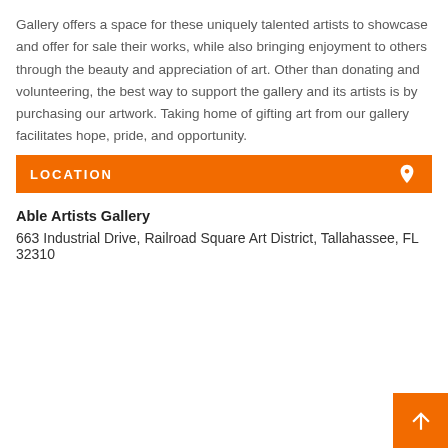Gallery offers a space for these uniquely talented artists to showcase and offer for sale their works, while also bringing enjoyment to others through the beauty and appreciation of art. Other than donating and volunteering, the best way to support the gallery and its artists is by purchasing our artwork. Taking home of gifting art from our gallery facilitates hope, pride, and opportunity.
LOCATION
Able Artists Gallery
663 Industrial Drive, Railroad Square Art District, Tallahassee, FL 32310